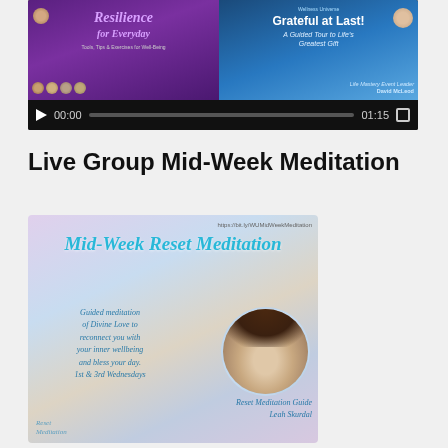[Figure (screenshot): Video player showing two promotional banners: 'Resilience for Everyday' on the left and 'Grateful at Last! A Guided Tour to Life's Greatest Gift' featuring David McLend on the right. Below the thumbnail is a video control bar showing 00:00 start time, progress bar, 01:15 end time, and fullscreen button.]
Live Group Mid-Week Meditation
[Figure (illustration): Mid-Week Reset Meditation promotional image with URL https://bit.ly/WUMidWeekMeditation at top. Title reads 'Mid-Week Reset Meditation' in teal script font. Below is italic text: 'Guided meditation of Divine Love to reconnect you with your inner wellbeing and bless your day. 1st & 3rd Wednesdays'. A circular photo of a woman (Reset Meditation Guide Leah Skurdal) appears on the right. Bottom left shows 'Reset Meditation' label.]